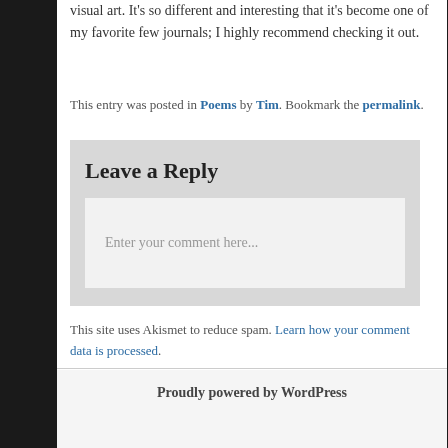visual art. It's so different and interesting that it's become one of my favorite few journals; I highly recommend checking it out.
This entry was posted in Poems by Tim. Bookmark the permalink.
Leave a Reply
Enter your comment here...
This site uses Akismet to reduce spam. Learn how your comment data is processed.
Proudly powered by WordPress